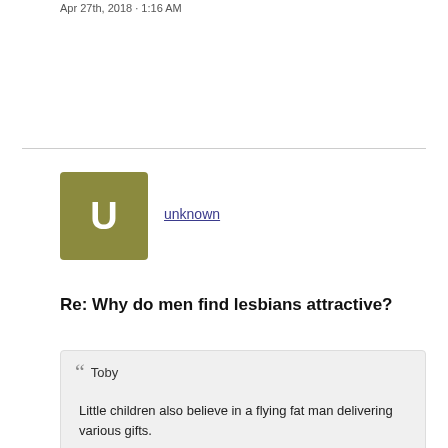Apr 27th, 2018 · 1:16 AM
[Figure (illustration): User avatar: olive/gold square with white letter U]
unknown
Re: Why do men find lesbians attractive?
Toby

Little children also believe in a flying fat man delivering various gifts.
That's an interesting statement to me. When I had my first child, my husband and I discovered our first philosophical difference. I had no intention of perpetuating the Santa myth because I did not want to lie to my children.
I did want the Santa effect and had every intention of placing presents around the tree and in his stocking on Christmas morning with no tags to indicate from